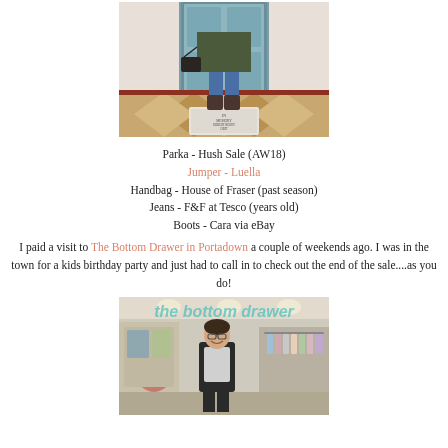[Figure (photo): Person standing in front of an ornate tiled floor and a blue door, wearing jeans, brown boots, and a dark parka]
Parka - Hush Sale (AW18)
Jumper - Luella
Handbag - House of Fraser (past season)
Jeans - F&F at Tesco (years old)
Boots - Cara via eBay
I paid a visit to The Bottom Drawer in Portadown a couple of weekends ago. I was in the town for a kids birthday party and just had to call in to check out the end of the sale....as you do!
[Figure (photo): Woman standing smiling inside a clothing boutique called 'the bottom drawer', with racks of clothes visible behind her]